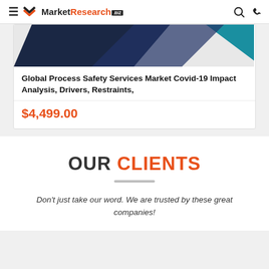MarketResearch.biz
[Figure (screenshot): Product card image showing diagonal geometric shapes in dark blue and teal colors]
Global Process Safety Services Market Covid-19 Impact Analysis, Drivers, Restraints,
$4,499.00
OUR CLIENTS
Don't just take our word. We are trusted by these great companies!